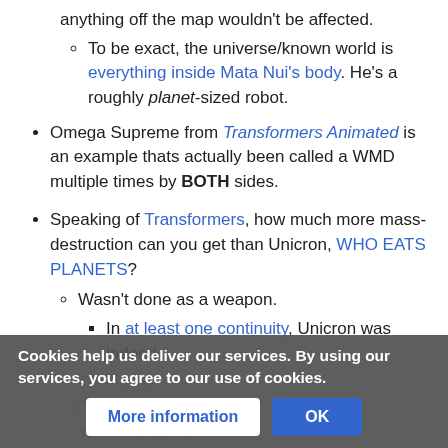anything off the map wouldn't be affected.
To be exact, the universe/known world is everything inside Mata Nui's body. He's a roughly planet-sized robot.
Omega Supreme from Transformers Animated is an example thats actually been called a WMD multiple times by BOTH sides.
Speaking of Transformers, how much more mass-destruction can you get than Unicron, WHO EATS PLANETS?
Wasn't done as a weapon.
In at least one continuity, Unicron was indeed
[partially obscured by overlay] ...the Munky thing Primacron.
[partially obscured] ...rt of servant and universal tool in one. That version of
Cookies help us deliver our services. By using our services, you agree to our use of cookies.